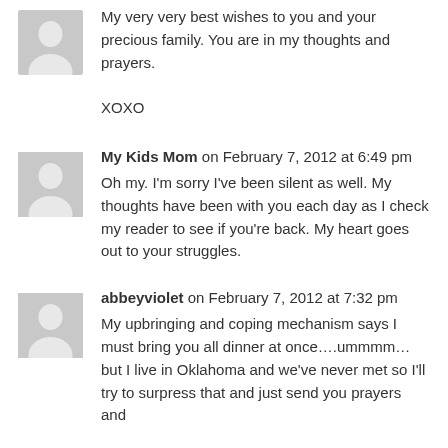My very very best wishes to you and your precious family. You are in my thoughts and prayers.

XOXO
My Kids Mom on February 7, 2012 at 6:49 pm
Oh my. I'm sorry I've been silent as well. My thoughts have been with you each day as I check my reader to see if you're back. My heart goes out to your struggles.
abbeyviolet on February 7, 2012 at 7:32 pm
My upbringing and coping mechanism says I must bring you all dinner at once….ummmm… but I live in Oklahoma and we've never met so I'll try to surpress that and just send you prayers and